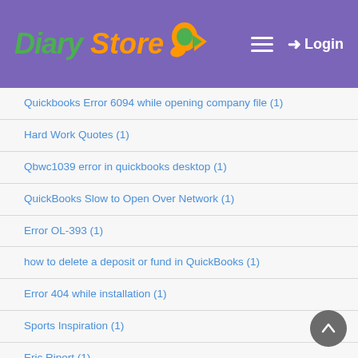Diary Store — Login
Quickbooks Error 6094 while opening company file (1)
Hard Work Quotes (1)
Qbwc1039 error in quickbooks desktop (1)
QuickBooks Slow to Open Over Network (1)
Error OL-393 (1)
how to delete a deposit or fund in QuickBooks (1)
Error 404 while installation (1)
Sports Inspiration (1)
Eric Ripert (1)
Mobile_Payments_Houston (6)
Things to do in Shimla (1)